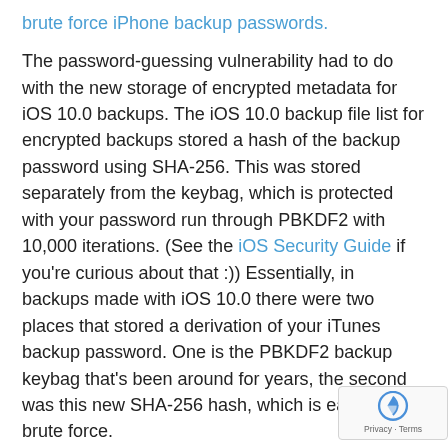brute force iPhone backup passwords.
The password-guessing vulnerability had to do with the new storage of encrypted metadata for iOS 10.0 backups. The iOS 10.0 backup file list for encrypted backups stored a hash of the backup password using SHA-256. This was stored separately from the keybag, which is protected with your password run through PBKDF2 with 10,000 iterations. (See the iOS Security Guide if you're curious about that :)) Essentially, in backups made with iOS 10.0 there were two places that stored a derivation of your iTunes backup password. One is the PBKDF2 backup keybag that's been around for years, the second was this new SHA-256 hash, which is easier to brute force.
So, the fix was to remove the encrypted metadata and the stored password hash. It also consequently "fixed" another issue I wrote about, caused by clicking "Change Password" in iTunes for iOS 10.0 devices.